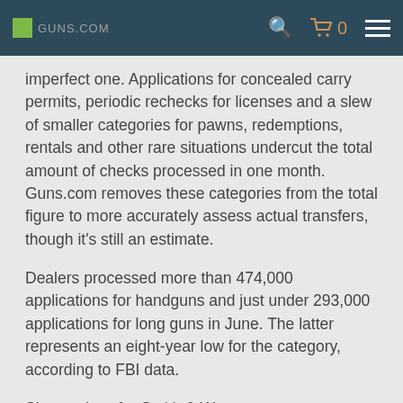GUNS.COM | Search | Cart 0 | Menu
imperfect one. Applications for concealed carry permits, periodic rechecks for licenses and a slew of smaller categories for pawns, redemptions, rentals and other rare situations undercut the total amount of checks processed in one month. Guns.com removes these categories from the total figure to more accurately assess actual transfers, though it's still an estimate.
Dealers processed more than 474,000 applications for handguns and just under 293,000 applications for long guns in June. The latter represents an eight-year low for the category, according to FBI data.
Share prices for Smith & Wesson parent company American Outdoor Brands fell 2 percent Monday, though its unclear if the NICS data provoked the sudden drop — or whether its ongoing